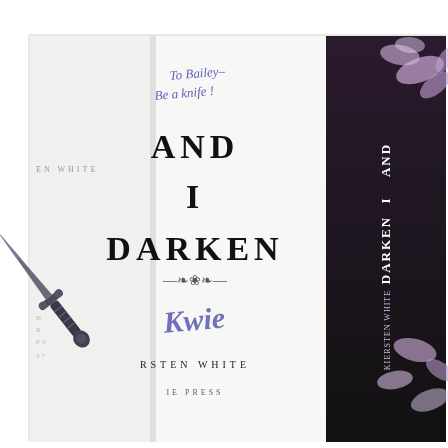[Figure (photo): A signed and inscribed copy of 'And I Darken' by Kiersten White, open to the title page. A handwritten dedication in purple ink reads 'To Bailey- Be a knife!' with the author's signature in purple. An ornate dagger prop rests across the open book. To the right, the dark book cover is visible showing the title 'And I Darken' with floral (wisteria petals) decorations on a black background.]